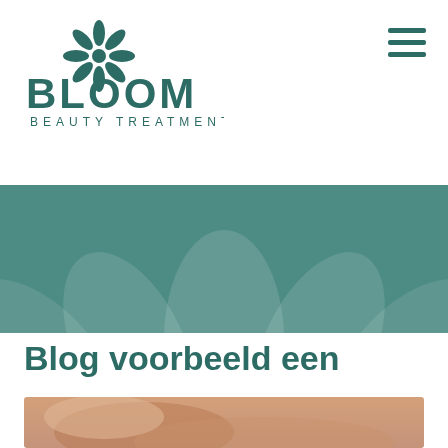[Figure (logo): Bloom Beauty Treatments logo with flower/leaf icon above the text BLOOM BEAUTY TREATMENTS in teal/dark green color]
[Figure (illustration): Hamburger menu icon — three horizontal dark teal lines stacked]
[Figure (illustration): Green teal banner with large semi-transparent flower/petal shapes (lotus-like) in lighter teal as background decoration]
Blog voorbeeld een
[Figure (photo): Close-up photo of two hands gently resting on top of each other on a soft surface, warm skin tones, soft focus background]